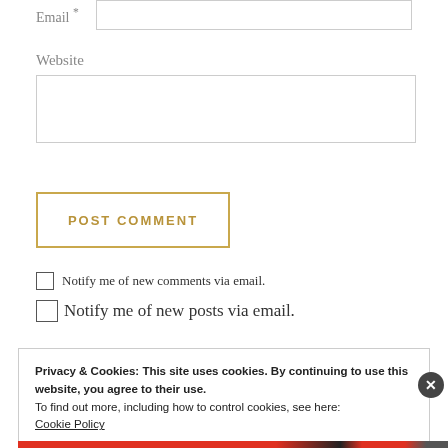Email *
Website
POST COMMENT
Notify me of new comments via email.
Notify me of new posts via email.
Privacy & Cookies: This site uses cookies. By continuing to use this website, you agree to their use.
To find out more, including how to control cookies, see here:
Cookie Policy
Close and accept